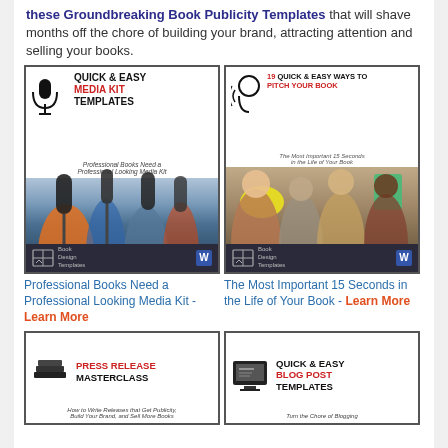these Groundbreaking Book Publicity Templates that will shave months off the chore of building your brand, attracting attention and selling your books.
[Figure (illustration): Book cover: Quick & Easy Media Kit Templates - Professional Books Need a Professional Looking Media Kit, Book Design Templates]
[Figure (illustration): Book cover: 19 Quick & Easy Ways to Pitch Your Book - The Most Important 15 Seconds in the Life of Your Book, Book Design Templates]
Professional Books Need a Professional Looking Media Kit - Learn More
The Most Important 15 Seconds in the Life of Your Book - Learn More
[Figure (illustration): Book cover: Press Release Masterclass - How to Write Releases that Get Publicity, Build Your Brand, and Sell More Books]
[Figure (illustration): Book cover: Quick & Easy Blog Post Templates - Turn the Chore of Blogging]